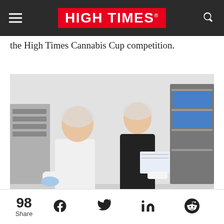HIGH TIMES
the High Times Cannabis Cup competition.
[Figure (photo): Two women wearing hairnets working in a food production facility. The woman on the left wears a white lab coat and blue gloves, using a scale. The woman on the right wears a black top and white gloves, holding documents. A stainless steel table holds chocolate candies on a cutting board. Metal shelving with blue bins visible in background.]
98 Share